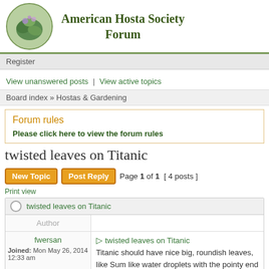American Hosta Society Forum
Register
View unanswered posts | View active topics
Board index » Hostas & Gardening
Forum rules
Please click here to view the forum rules
twisted leaves on Titanic
Page 1 of 1  [ 4 posts ]
Print view
twisted leaves on Titanic
| Author |  |
| --- | --- |
| fwersan
Joined: Mon May 26, 2014
12:33 am | twisted leaves on Titanic
Titanic should have nice big, roundish leaves, like Sum like water droplets with the pointy end twisted off to the |